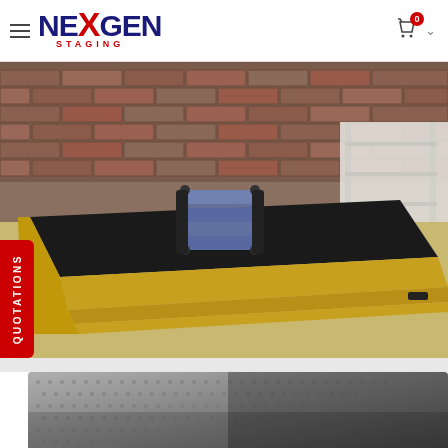[Figure (logo): NexGen Staging logo with hamburger menu icon on the left and shopping cart with badge '0' and chevron on the right]
[Figure (photo): A portable stage platform (black surface with gold aluminum frame) lying flat on a warehouse floor with brick wall background. A set of folded stage legs in gray sits on top of the platform.]
[Figure (photo): Close-up of a dark gray non-slip stage deck panel surface with subtle textured dot pattern, viewed at an angle.]